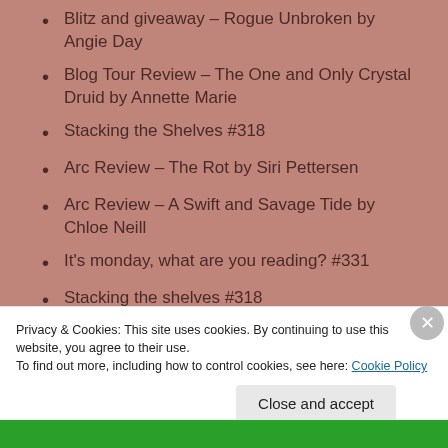Blitz and giveaway – Rogue Unbroken by Angie Day
Blog Tour Review – The One and Only Crystal Druid by Annette Marie
Stacking the Shelves #318
Arc Review – The Rot by Siri Pettersen
Arc Review – A Swift and Savage Tide by Chloe Neill
It's monday, what are you reading? #331
Stacking the shelves #318
Privacy & Cookies: This site uses cookies. By continuing to use this website, you agree to their use.
To find out more, including how to control cookies, see here: Cookie Policy